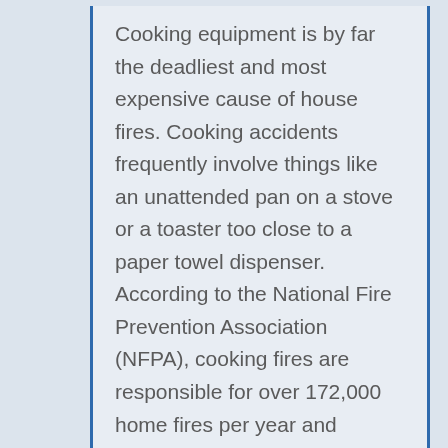Cooking equipment is by far the deadliest and most expensive cause of house fires. Cooking accidents frequently involve things like an unattended pan on a stove or a toaster too close to a paper towel dispenser. According to the National Fire Prevention Association (NFPA), cooking fires are responsible for over 172,000 home fires per year and amount to over $1 billion in property damage. Approximately 60% of home cooking fires are started by ranges and cooktops. Ovens and cooktops are responsible for 87% of cooking fire deaths every year and 78% of cooking fire injuries. Cooking fire